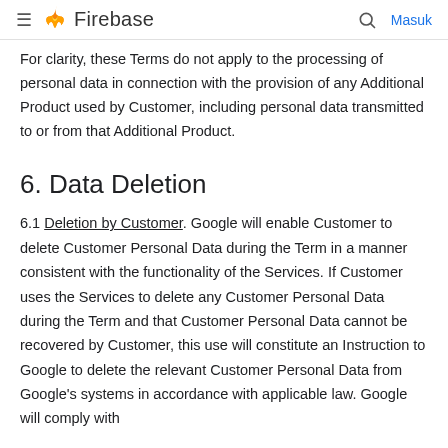Firebase — Masuk
For clarity, these Terms do not apply to the processing of personal data in connection with the provision of any Additional Product used by Customer, including personal data transmitted to or from that Additional Product.
6. Data Deletion
6.1 Deletion by Customer. Google will enable Customer to delete Customer Personal Data during the Term in a manner consistent with the functionality of the Services. If Customer uses the Services to delete any Customer Personal Data during the Term and that Customer Personal Data cannot be recovered by Customer, this use will constitute an Instruction to Google to delete the relevant Customer Personal Data from Google's systems in accordance with applicable law. Google will comply with